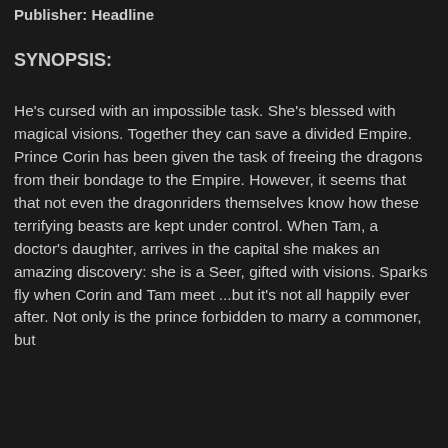Publisher:  Headline
SYNOPSIS:
He's cursed with an impossible task. She's blessed with magical visions. Together they can save a divided Empire. Prince Corin has been given the task of freeing the dragons from their bondage to the Empire. However, it seems that that not even the dragonriders themselves know how these terrifying beasts are kept under control. When Tam, a doctor's daughter, arrives in the capital she makes an amazing discovery: she is a Seer, gifted with visions. Sparks fly when Corin and Tam meet ...but it's not all happily ever after. Not only is the prince forbidden to marry a commoner, but